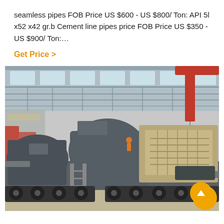seamless pipes FOB Price US $600 - US $800/ Ton: API 5l x52 x42 gr.b Cement line pipes price FOB Price US $350 - US $900/ Ton:…
Get Price >
[Figure (photo): Large industrial mobile crusher/screening machine on tracks inside a factory warehouse. The machine is painted grey with yellow/tan components and a red crane arm visible at upper right. A worker in orange is visible near the center. The warehouse has a steel truss roof with skylights.]